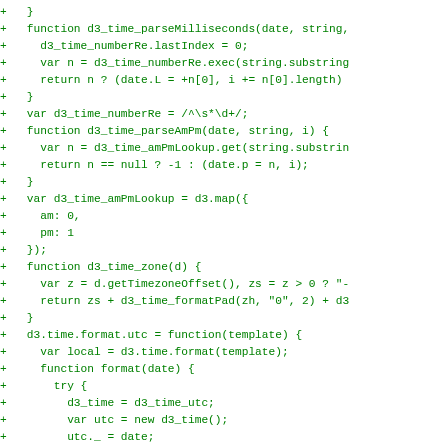Code diff snippet showing JavaScript d3 time formatting functions